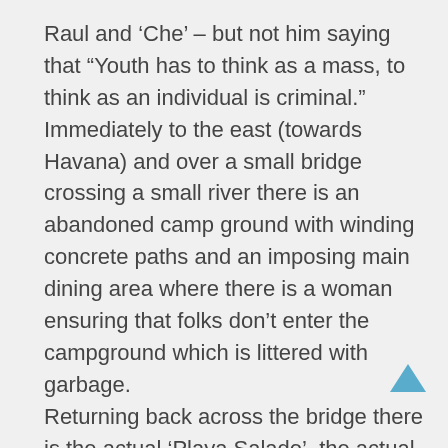Raul and ‘Che’ – but not him saying that “Youth has to think as a mass, to think as an individual is criminal.” Immediately to the east (towards Havana) and over a small bridge crossing a small river there is an abandoned camp ground with winding concrete paths and an imposing main dining area where there is a woman ensuring that folks don’t enter the campground which is littered with garbage. Returning back across the bridge there is the actual ‘Playa Salado’, the actual beach is only about fifteen feet wide, but there is a pier from which one can dive. The rest of the